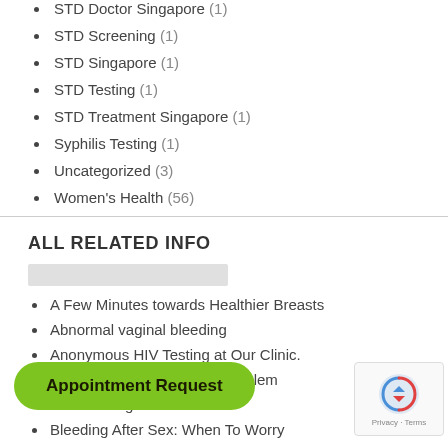STD Doctor Singapore (1)
STD Screening (1)
STD Singapore (1)
STD Testing (1)
STD Treatment Singapore (1)
Syphilis Testing (1)
Uncategorized (3)
Women's Health (56)
ALL RELATED INFO
A Few Minutes towards Healthier Breasts
Abnormal vaginal bleeding
Anonymous HIV Testing at Our Clinic.
Asymmetric Vulva? Not a Problem
Bacteria vaginosis
Bleeding After Sex: When To Worry
Bleeding (causes)
Catching Ovulation Stone (Kidney Stone)